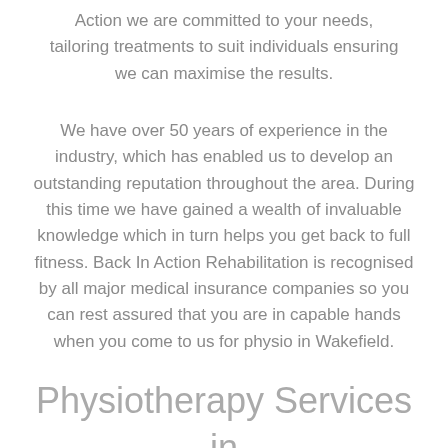Action we are committed to your needs, tailoring treatments to suit individuals ensuring we can maximise the results.
We have over 50 years of experience in the industry, which has enabled us to develop an outstanding reputation throughout the area. During this time we have gained a wealth of invaluable knowledge which in turn helps you get back to full fitness. Back In Action Rehabilitation is recognised by all major medical insurance companies so you can rest assured that you are in capable hands when you come to us for physio in Wakefield.
Physiotherapy Services in Wakefield